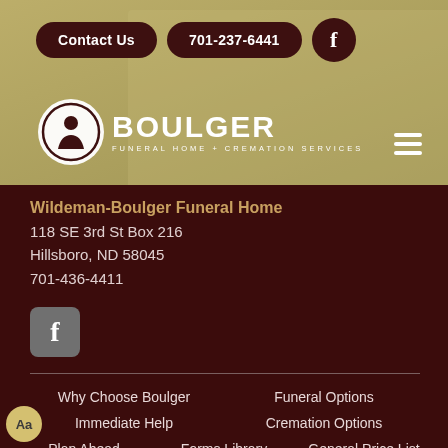[Figure (screenshot): Boulger Funeral Home website header with dark maroon navigation buttons (Contact Us, 701-237-6441, Facebook icon), Boulger logo with circular icon on left, and hamburger menu icon on right. Background is a muted golden/olive colored image of a building interior.]
Wildeman-Boulger Funeral Home
118 SE 3rd St Box 216
Hillsboro, ND 58045
701-436-4411
[Figure (logo): Facebook logo icon in a grey rounded square box]
Why Choose Boulger
Funeral Options
Immediate Help
Cremation Options
Plan Ahead
Forms Library
General Price List